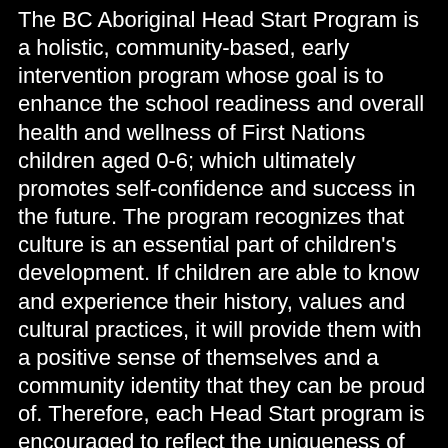The BC Aboriginal Head Start Program is a holistic, community-based, early intervention program whose goal is to enhance the school readiness and overall health and wellness of First Nations children aged 0-6; which ultimately promotes self-confidence and success in the future. The program recognizes that culture is an essential part of children's development. If children are able to know and experience their history, values and cultural practices, it will provide them with a positive sense of themselves and a community identity that they can be proud of. Therefore, each Head Start program is encouraged to reflect the uniqueness of its community and focus on the emotional, spiritual, physical and intellectual needs of the children. The Kwakiutl Head Start Program works in conjunction with other Band Programs to ensure that our children and families needs are being met.
Some of the programs and activities offered at our